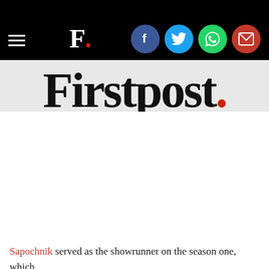[Figure (screenshot): Firstpost website header with hamburger menu, F. logo on black background, and social sharing icons (Facebook, Twitter, WhatsApp, Email) as colored circles]
[Figure (logo): Firstpost logo in large serif text on light grey background reading 'Firstpost.' with a red dot]
Sapochnik served as the showrunner on the season one, which